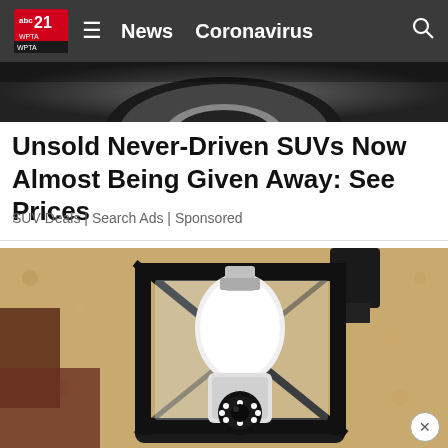abc21 WPTA | News  Coronavirus
[Figure (photo): Top portion of a car showing a tire/wheel area against dark background]
Unsold Never-Driven SUVs Now Almost Being Given Away: See Prices
SUV Deals | Search Ads | Sponsored
[Figure (photo): An outdoor wall-mounted lantern light fixture with a security camera bulb inserted, against a textured beige/tan stucco wall]